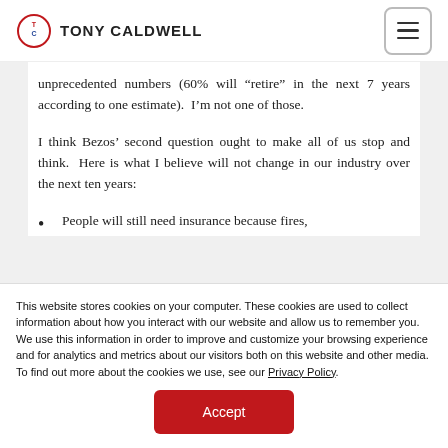TONY CALDWELL
unprecedented numbers (60% will “retire” in the next 7 years according to one estimate).  I’m not one of those.
I think Bezos’ second question ought to make all of us stop and think.  Here is what I believe will not change in our industry over the next ten years:
People will still need insurance because fires,
This website stores cookies on your computer. These cookies are used to collect information about how you interact with our website and allow us to remember you. We use this information in order to improve and customize your browsing experience and for analytics and metrics about our visitors both on this website and other media. To find out more about the cookies we use, see our Privacy Policy.
Accept